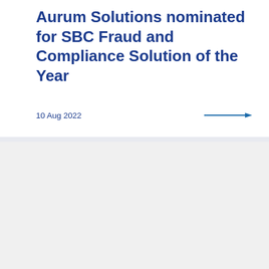Aurum Solutions nominated for SBC Fraud and Compliance Solution of the Year
10 Aug 2022
[Figure (photo): Gray image placeholder in lower portion of page]